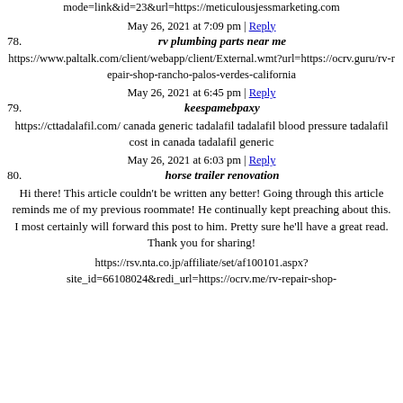mode=link&id=23&url=https://meticulousjessmarketing.com
May 26, 2021 at 7:09 pm | Reply
78. rv plumbing parts near me
https://www.paltalk.com/client/webapp/client/External.wmt?url=https://ocrv.guru/rv-repair-shop-rancho-palos-verdes-california
May 26, 2021 at 6:45 pm | Reply
79. keespamebpaxy
https://cttadalafil.com/ canada generic tadalafil tadalafil blood pressure tadalafil cost in canada tadalafil generic
May 26, 2021 at 6:03 pm | Reply
80. horse trailer renovation
Hi there! This article couldn’t be written any better! Going through this article reminds me of my previous roommate! He continually kept preaching about this. I most certainly will forward this post to him. Pretty sure he'll have a great read. Thank you for sharing!
https://rsv.nta.co.jp/affiliate/set/af100101.aspx?site_id=66108024&redi_url=https://ocrv.me/rv-repair-shop-